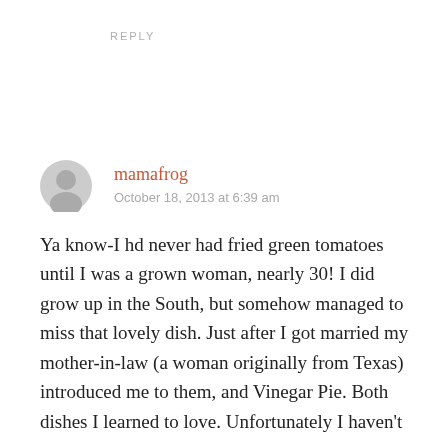REPLY
[Figure (illustration): Generic user avatar icon — grey circle with silhouette of person head and shoulders]
mamafrog
October 18, 2013 at 6:39 am
Ya know-I hd never had fried green tomatoes until I was a grown woman, nearly 30! I did grow up in the South, but somehow managed to miss that lovely dish. Just after I got married my mother-in-law (a woman originally from Texas) introduced me to them, and Vinegar Pie. Both dishes I learned to love. Unfortunately I haven't